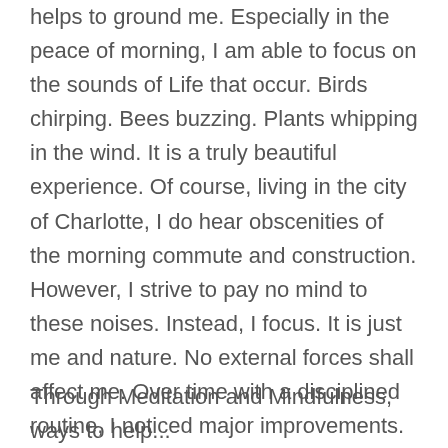helps to ground me. Especially in the peace of morning, I am able to focus on the sounds of Life that occur. Birds chirping. Bees buzzing. Plants whipping in the wind. It is a truly beautiful experience. Of course, living in the city of Charlotte, I do hear obscenities of the morning commute and construction. However, I strive to pay no mind to these noises. Instead, I focus. It is just me and nature. No external forces shall affect me. Over time with a disciplined routine, I noticed major improvements. My practice grew stronger. My insights became deeper. My time spent in lotus position lengthened. Huh, what do ya know? Practice really does make perfect.
Through Meditation and Mindfulness, ways to help...